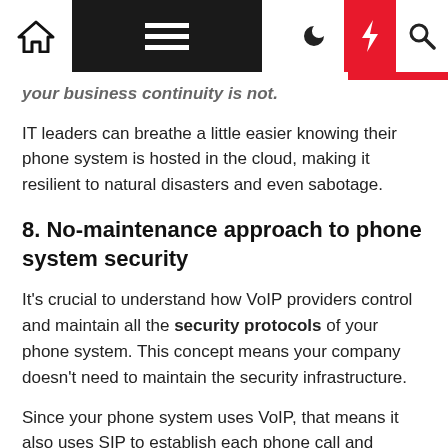[Navigation bar with home, menu, moon, bolt, search icons]
your business continuity is not.
IT leaders can breathe a little easier knowing their phone system is hosted in the cloud, making it resilient to natural disasters and even sabotage.
8. No-maintenance approach to phone system security
It's crucial to understand how VoIP providers control and maintain all the security protocols of your phone system. This concept means your company doesn't need to maintain the security infrastructure.
Since your phone system uses VoIP, that means it also uses SIP to establish each phone call and message. Much like how websites secure all traffic between the user and server, your phone system can offer the same functionality.